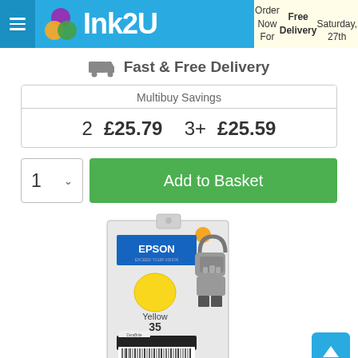Ink2U — Order Now For Free Delivery Saturday, 27th
Fast & Free Delivery
| Multibuy Savings |
| --- |
| 2 | £25.79 | 3+ | £25.59 |
[Figure (screenshot): Quantity selector showing '1' with dropdown arrow and green 'Add to Basket' button]
[Figure (photo): Epson Yellow 35 ink cartridge product photo with barcode]